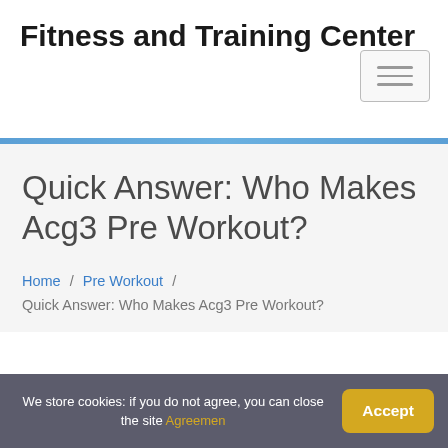Fitness and Training Center
Quick Answer: Who Makes Acg3 Pre Workout?
Home / Pre Workout / Quick Answer: Who Makes Acg3 Pre Workout?
We store cookies: if you do not agree, you can close the site Agreemen